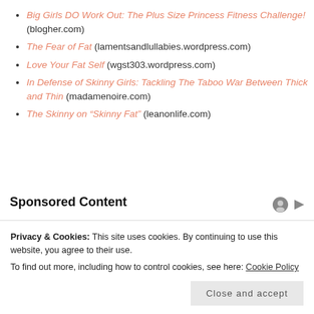Big Girls DO Work Out: The Plus Size Princess Fitness Challenge! (blogher.com)
The Fear of Fat (lamentsandlullabies.wordpress.com)
Love Your Fat Self (wgst303.wordpress.com)
In Defense of Skinny Girls: Tackling The Taboo War Between Thick and Thin (madamenoire.com)
The Skinny on “Skinny Fat” (leanonlife.com)
Sponsored Content
[Figure (photo): Grocery store interior with shoppers]
$900 Grocery Allowance For Seniors On Medicare
Privacy & Cookies: This site uses cookies. By continuing to use this website, you agree to their use.
To find out more, including how to control cookies, see here: Cookie Policy
Close and accept